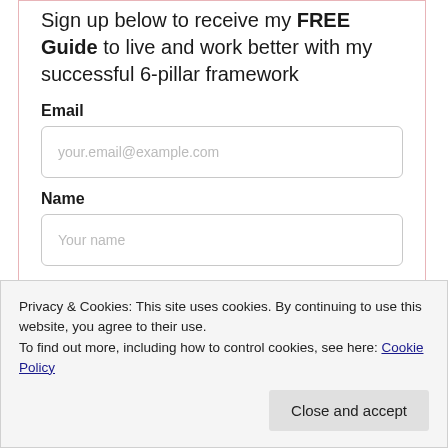Sign up below to receive my FREE Guide to live and work better with my successful 6-pillar framework
Email
your.email@example.com
Name
Your name
I WANT IT NOW!
Privacy & Cookies: This site uses cookies. By continuing to use this website, you agree to their use.
To find out more, including how to control cookies, see here: Cookie Policy
Close and accept